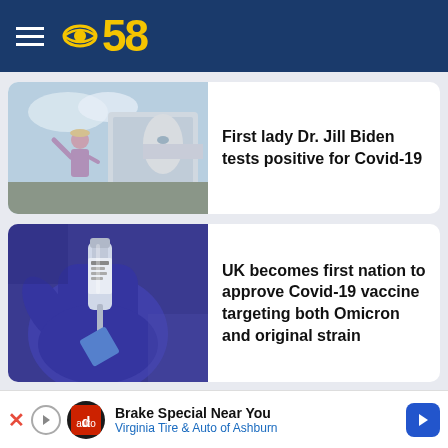CBS 58
[Figure (photo): Woman in light purple outfit waving near an airplane on a tarmac]
First lady Dr. Jill Biden tests positive for Covid-19
[Figure (photo): Blue gloved hand holding a Covid-19 vaccine vial and syringe]
UK becomes first nation to approve Covid-19 vaccine targeting both Omicron and original strain
• LATEST
Brake Special Near You — Virginia Tire & Auto of Ashburn